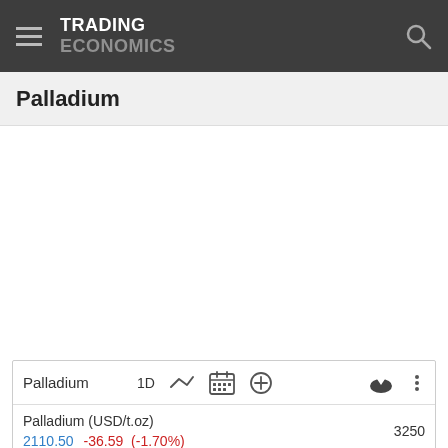TRADING ECONOMICS
Palladium
[Figure (screenshot): Trading Economics website screenshot showing Palladium commodity chart page with toolbar controls (1D, line chart, calendar, add, download, more options) and a data table row showing Palladium (USD/t.oz) price 2110.50, change -36.59 (-1.70%), and value 3250]
|  |  |  |  |  |  |
| --- | --- | --- | --- | --- | --- |
| Palladium (USD/t.oz)
2110.50  -36.59 (-1.70%) |  |  |  |  | 3250 |